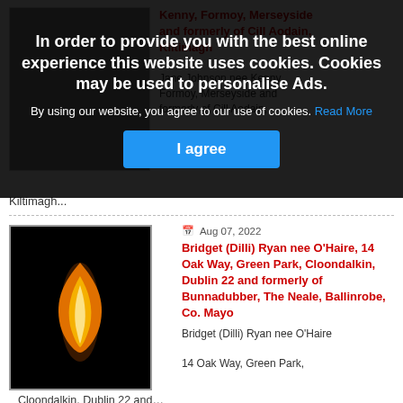In order to provide you with the best online experience this website uses cookies. Cookies may be used to personalise Ads.
By using our website, you agree to our use of cookies. Read More
I agree
[Figure (photo): Photo partially visible behind cookie overlay, showing a person or memorial image]
Kenny, Formoy, Merseyside and formerly of Cill Aodain, Kiltimagh
Jane Johnson nee Kenny Formoy, Merseyside and formerly of Cill Aodain, Kiltimagh...
Aug 07, 2022
Bridget (Dilli) Ryan nee O'Haire, 14 Oak Way, Green Park, Cloondalkin, Dublin 22 and formerly of Bunnadubber, The Neale, Ballinrobe, Co. Mayo
[Figure (photo): Photo of a single candle flame against a black background]
Bridget (Dilli) Ryan nee O'Haire
14 Oak Way, Green Park,
Cloondalkin, Dublin 22 and...